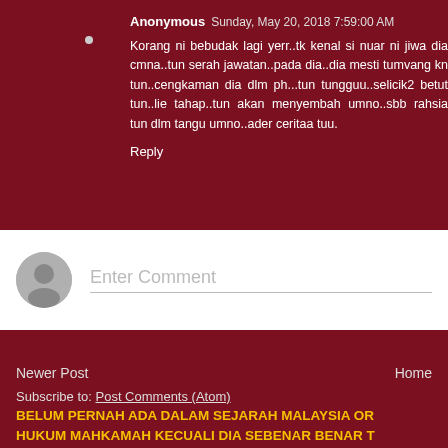Anonymous  Sunday, May 20, 2018 7:59:00 AM
Korang ni bebudak lagi yerr..tk kenal si nuar ni jiwa dia cmna..tun serah jawatan..pada dia..dia mesti tumvang kn tun..cengkaman dia dlm ph...tun tungguu..selicik2 betut tun..lie tahap..tun akan menyembah umno..sbb rahsia tun dlm tangu umno..ader ceritaa tuu.
Reply
Enter Comment
Newer Post
Home
Subscribe to: Post Comments (Atom)
BELUM PERNAH ADA DALAM SEJARAH MALAYSIA OR HUKUM MAHKAMAH KECUALI DIA SEBENAR BENAR T PENJENAYAH....Beban Dan Proses Membuktikan Oleh K Mudah
https://kluangmoneypress.blogspot.com/2022/09/seksi-umum-naji...